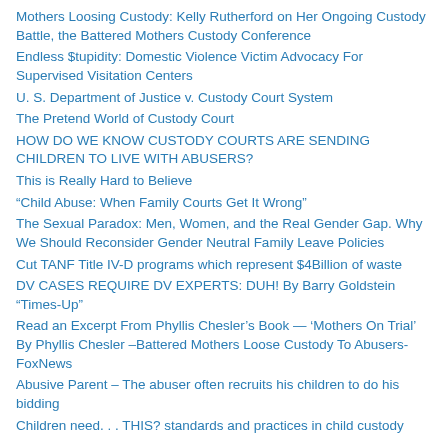Mothers Loosing Custody: Kelly Rutherford on Her Ongoing Custody Battle, the Battered Mothers Custody Conference
Endless $tupidity: Domestic Violence Victim Advocacy For Supervised Visitation Centers
U. S. Department of Justice v. Custody Court System
The Pretend World of Custody Court
HOW DO WE KNOW CUSTODY COURTS ARE SENDING CHILDREN TO LIVE WITH ABUSERS?
This is Really Hard to Believe
“Child Abuse: When Family Courts Get It Wrong”
The Sexual Paradox: Men, Women, and the Real Gender Gap. Why We Should Reconsider Gender Neutral Family Leave Policies
Cut TANF Title IV-D programs which represent $4Billion of waste
DV CASES REQUIRE DV EXPERTS: DUH! By Barry Goldstein “Times-Up”
Read an Excerpt From Phyllis Chesler’s Book — ‘Mothers On Trial’ By Phyllis Chesler –Battered Mothers Loose Custody To Abusers-FoxNews
Abusive Parent – The abuser often recruits his children to do his bidding
Children need. . . THIS? standards and practices in child custody